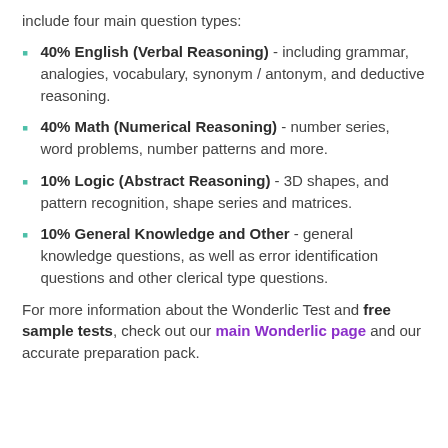include four main question types:
40% English (Verbal Reasoning) - including grammar, analogies, vocabulary, synonym / antonym, and deductive reasoning.
40% Math (Numerical Reasoning) - number series, word problems, number patterns and more.
10% Logic (Abstract Reasoning) - 3D shapes, and pattern recognition, shape series and matrices.
10% General Knowledge and Other - general knowledge questions, as well as error identification questions and other clerical type questions.
For more information about the Wonderlic Test and free sample tests, check out our main Wonderlic page and our accurate preparation pack.